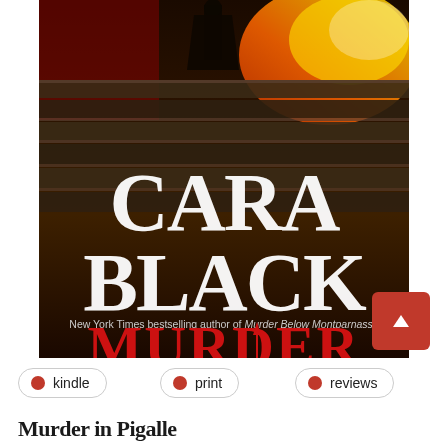[Figure (photo): Book cover of 'Murder in Pigalle' by Cara Black. Dark dramatic background showing stone steps with a silhouette at the top and bright orange/yellow light. Large white serif text reads 'CARA BLACK'. Below in smaller white text: 'New York Times bestselling author of Murder Below Montparnasse'. Below that in large red text: 'MURDER' and in gold/yellow text: 'IN PIGALLE'.]
kindle
print
reviews
Murder in Pigalle